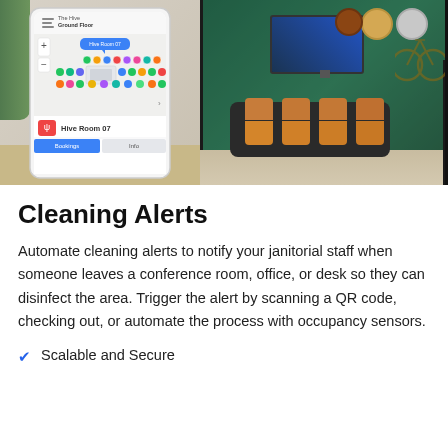[Figure (photo): Left: smartphone app showing floor map with room booking interface labeled 'The Hive Ground Floor' with 'Hive Room 07' selected showing Bookings/Info tabs. Right: modern office conference room with green glass walls, orange chairs around a dark table, wall-mounted TV, and decorative clocks on the wall.]
Cleaning Alerts
Automate cleaning alerts to notify your janitorial staff when someone leaves a conference room, office, or desk so they can disinfect the area. Trigger the alert by scanning a QR code, checking out, or automate the process with occupancy sensors.
Scalable and Secure